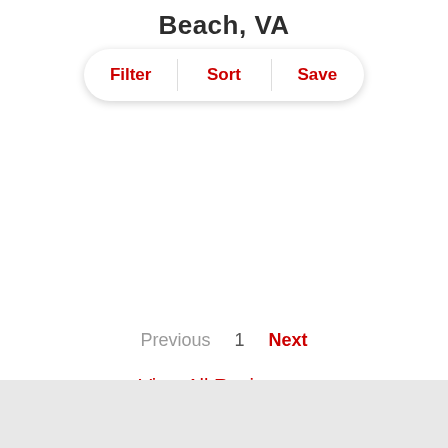Beach, VA
Filter | Sort | Save
Previous  1  Next
View All Reviews >
[Figure (other): Gray footer bar at the bottom of the page]